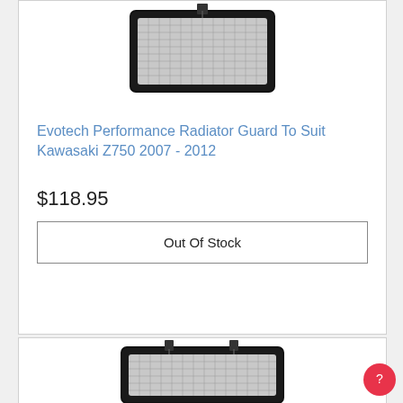[Figure (photo): Partial top view of a motorcycle radiator guard product (Evotech Performance), cropped at top]
Evotech Performance Radiator Guard To Suit Kawasaki Z750 2007 - 2012
$118.95
Out Of Stock
[Figure (photo): Bottom portion of a motorcycle radiator guard product card, showing partial product image]